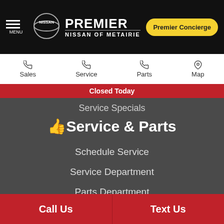PREMIER NISSAN OF METAIRIE — Premier Concierge
Sales
Service
Parts
Map
Closed Today
Service Specials
👍 Service & Parts
Schedule Service
Service Department
Parts Department
Car Repair Finance
$Financing
Credit Application
Call Us  |  Text Us